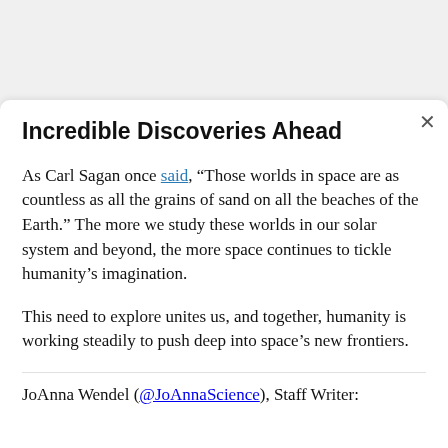Incredible Discoveries Ahead
As Carl Sagan once said, “Those worlds in space are as countless as all the grains of sand on all the beaches of the Earth.” The more we study these worlds in our solar system and beyond, the more space continues to tickle humanity’s imagination.
This need to explore unites us, and together, humanity is working steadily to push deep into space’s new frontiers.
JoAnna Wendel (@JoAnnaScience), Staff Writer: